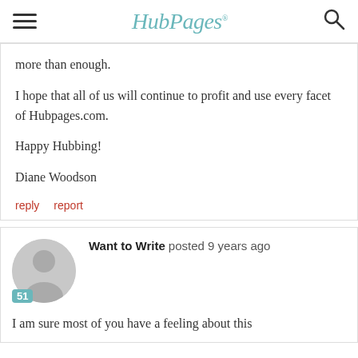HubPages
more than enough.

I hope that all of us will continue to profit and use every facet of Hubpages.com.

Happy Hubbing!

Diane Woodson
reply   report
Want to Write posted 9 years ago
I am sure most of you have a feeling about this